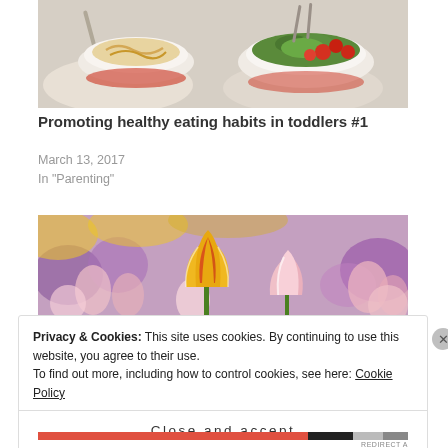[Figure (photo): Photo of white bowls with food — one with salad/vegetables with red tomatoes and green herbs, another with pasta or noodles, on a table with plates and cutlery]
Promoting healthy eating habits in toddlers #1
March 13, 2017
In "Parenting"
[Figure (photo): Photo of colorful tulip flowers — yellow and red striped tulip in focus in center, surrounded by pink/white and purple tulips in soft focus background]
Privacy & Cookies: This site uses cookies. By continuing to use this website, you agree to their use.
To find out more, including how to control cookies, see here: Cookie Policy
Close and accept